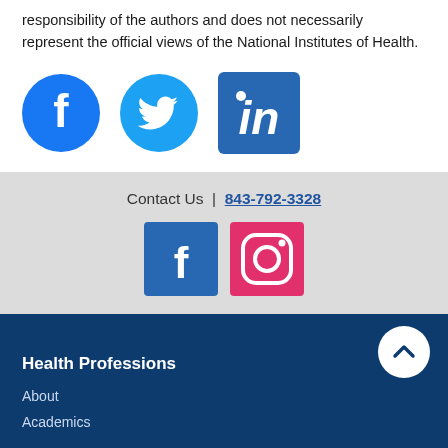responsibility of the authors and does not necessarily represent the official views of the National Institutes of Health.
[Figure (logo): Facebook, Twitter, and LinkedIn social media icons in a row]
Contact Us  |  843-792-3328
[Figure (logo): Facebook and Instagram social media icons in a row]
[Figure (other): Scroll-to-top arrow button (white circle with upward chevron)]
Health Professions
About
Academics